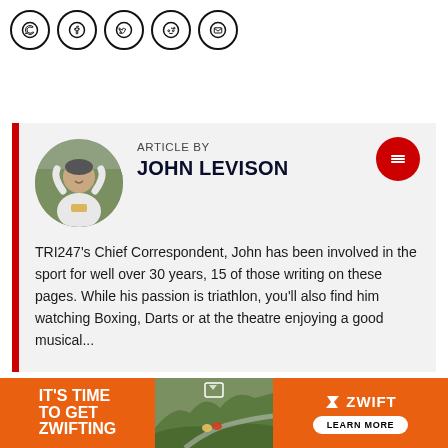[Figure (illustration): Social sharing icons row: WhatsApp, Facebook, Twitter, Reddit, Email — each in a circular outlined button]
ARTICLE BY
JOHN LEVISON
[Figure (photo): Circular photo of John Levison, a man in a white long-sleeve shirt with arms raised, outdoors at a sporting event]
TRI247's Chief Correspondent, John has been involved in the sport for well over 30 years, 15 of those writing on these pages. While his passion is triathlon, you'll also find him watching Boxing, Darts or at the theatre enjoying a good musical...
[Figure (infographic): Zwift advertisement banner: orange left panel with 'IT'S TIME TO GET ZWIFTING', center photo of cyclists on a mountain road, right panel with Zwift logo and LEARN MORE button]